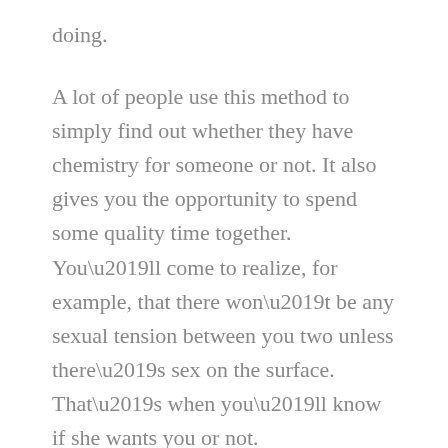doing.
A lot of people use this method to simply find out whether they have chemistry for someone or not. It also gives you the opportunity to spend some quality time together. You’ll come to realize, for example, that there won’t be any sexual tension between you two unless there’s sex on the surface. That’s when you’ll know if she wants you or not.
If there’s no sex on the surface, that’s the time to start building up a relationship. Let the sex attracts you. When you’re in the